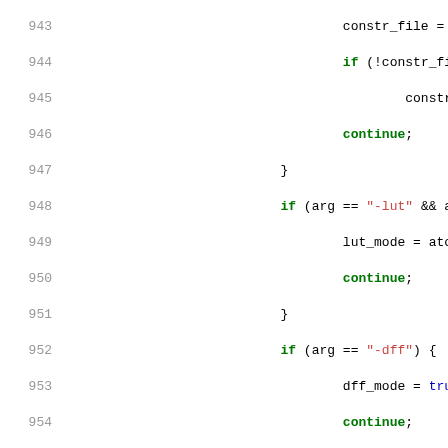[Figure (screenshot): Source code listing showing C++ code with line numbers 943-972. Syntax highlighting: keywords in green/bold, string literals in red, boolean values in blue, regular code in black. The code shows argument parsing logic with if-statements checking for -lut, -dff, -clk, -nocleanup flags.]